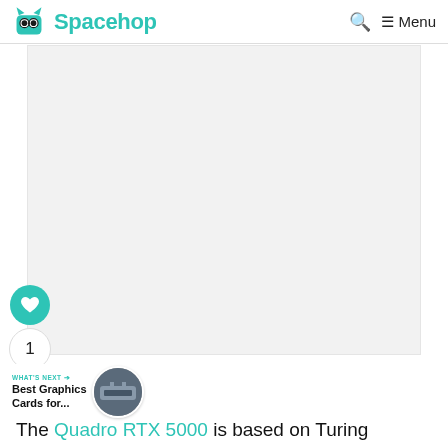Spacehop
[Figure (screenshot): Large blank/white content area representing an image placeholder on the Spacehop website]
[Figure (illustration): Heart/like button (teal circle with white heart icon), like count '1', and share button below it on the left side of the page]
[Figure (photo): What's Next promo with label 'WHAT'S NEXT →', text 'Best Graphics Cards for...', and a circular thumbnail photo of graphics card]
The Quadro RTX 5000 is based on Turing